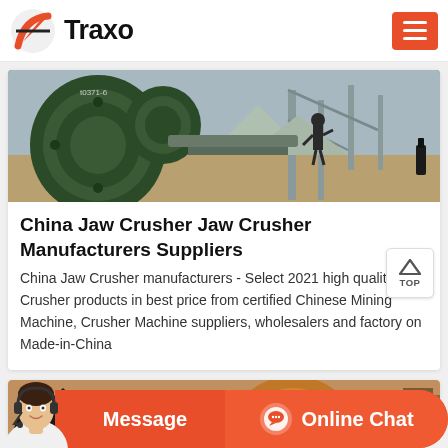Traxo
[Figure (photo): Industrial machinery photo showing large green metal crusher/mill equipment and a worker at a construction or mining site]
China Jaw Crusher Jaw Crusher Manufacturers Suppliers
China Jaw Crusher manufacturers - Select 2021 high quality Jaw Crusher products in best price from certified Chinese Mining Machine, Crusher Machine suppliers, wholesalers and factory on Made-in-China
[Figure (photo): Partial view of crusher machinery equipment, partially visible at bottom of page]
Message   Online Chat